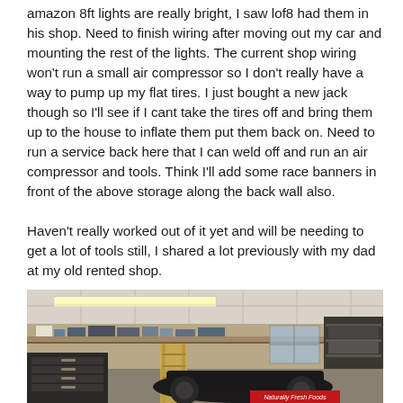amazon 8ft lights are really bright, I saw lof8 had them in his shop. Need to finish wiring after moving out my car and mounting the rest of the lights. The current shop wiring won't run a small air compressor so I don't really have a way to pump up my flat tires. I just bought a new jack though so I'll see if I cant take the tires off and bring them up to the house to inflate them put them back on. Need to run a service back here that I can weld off and run an air compressor and tools. Think I'll add some race banners in front of the above storage along the back wall also.
Haven't really worked out of it yet and will be needing to get a lot of tools still, I shared a lot previously with my dad at my old rented shop.
[Figure (photo): Interior of a garage/workshop showing fluorescent lighting on the ceiling, shelving along the back wall with tools and equipment, a tool chest, a ladder, and what appears to be a race car partially visible. A sign reading 'Naturally Fresh Foods' is visible in the lower right area.]